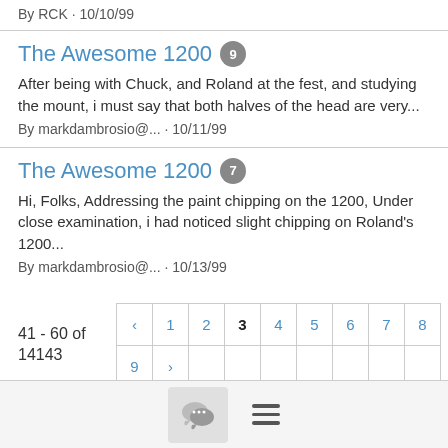By RCK · 10/10/99
The Awesome 1200  9
After being with Chuck, and Roland at the fest, and studying the mount, i must say that both halves of the head are very...
By markdambrosio@... · 10/11/99
The Awesome 1200  7
Hi, Folks, Addressing the paint chipping on the 1200, Under close examination, i had noticed slight chipping on Roland's 1200...
By markdambrosio@... · 10/13/99
41 - 60 of 14143
[Figure (other): Pagination control showing pages 1-9 with current page 3 highlighted, and prev/next arrows]